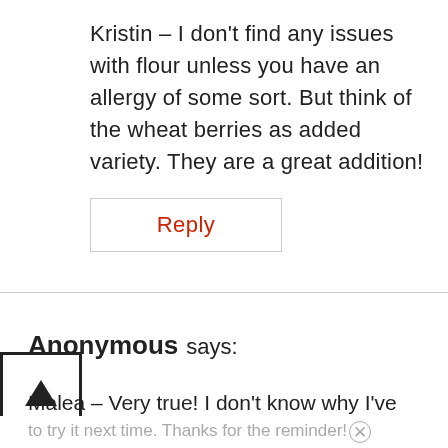Kristin – I don't find any issues with flour unless you have an allergy of some sort. But think of the wheat berries as added variety. They are a great addition!
Reply
Anonymous says:
Malea – Very true! I don't know why I've never done that. I'll have to make it a point
to try it next time. Thanks for the reminder!